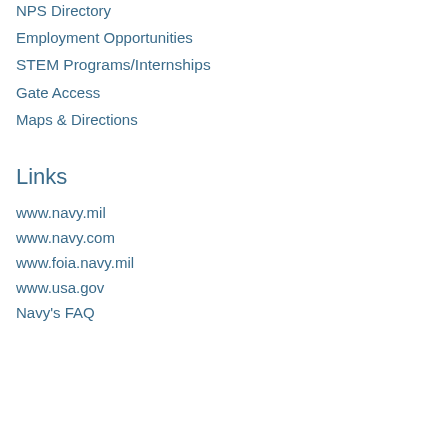NPS Directory
Employment Opportunities
STEM Programs/Internships
Gate Access
Maps & Directions
Links
www.navy.mil
www.navy.com
www.foia.navy.mil
www.usa.gov
Navy's FAQ